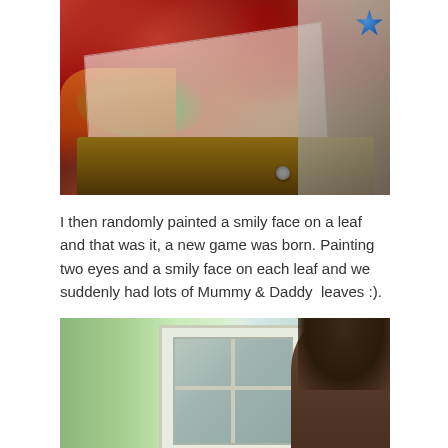[Figure (photo): A child painting on a canvas placed on a wooden easel. The canvas shows swirls of red, green, and orange paint. A child's arm in a grey and blue patterned sleeve is visible on the right side.]
I then randomly painted a smily face on a leaf and that was it, a new game was born. Painting two eyes and a smily face on each leaf and we suddenly had lots of Mummy & Daddy  leaves :).
[Figure (photo): A child with dark hair looking at a white window frame against a light green wall. The background shows the window and wall interior.]